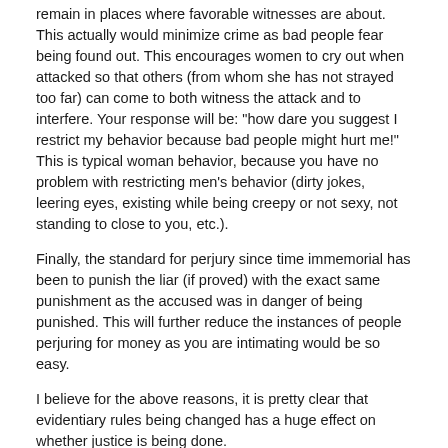remain in places where favorable witnesses are about. This actually would minimize crime as bad people fear being found out. This encourages women to cry out when attacked so that others (from whom she has not strayed too far) can come to both witness the attack and to interfere. Your response will be: "how dare you suggest I restrict my behavior because bad people might hurt me!" This is typical woman behavior, because you have no problem with restricting men's behavior (dirty jokes, leering eyes, existing while being creepy or not sexy, not standing to close to you, etc.).
Finally, the standard for perjury since time immemorial has been to punish the liar (if proved) with the exact same punishment as the accused was in danger of being punished. This will further reduce the instances of people perjuring for money as you are intimating would be so easy.
I believe for the above reasons, it is pretty clear that evidentiary rules being changed has a huge effect on whether justice is being done.